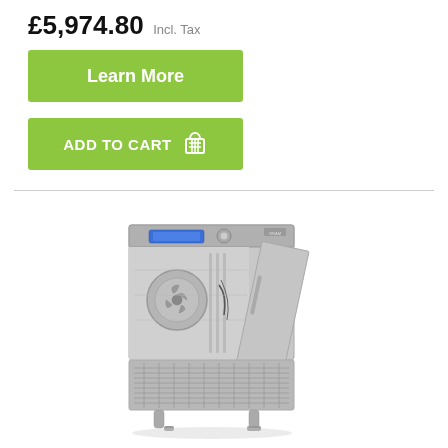£5,974.80 Incl. Tax
Learn More
ADD TO CART
[Figure (photo): Stainless steel commercial blast chiller/freezer with door open, showing interior fan and shelving, with ventilation grille on lower section and adjustable feet]